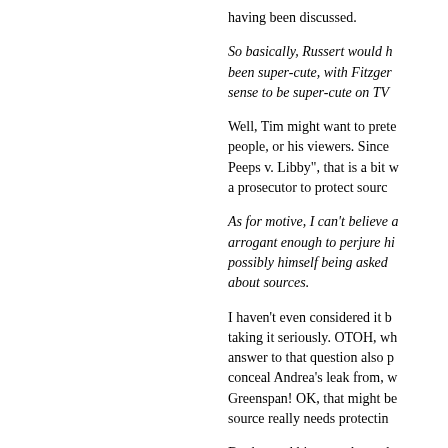having been discussed.
So basically, Russert would h... been super-cute, with Fitzger... sense to be super-cute on TV...
Well, Tim might want to prete... people, or his viewers. Since... Peeps v. Libby", that is a bit w... a prosecutor to protect sourc...
As for motive, I can't believe a... arrogant enough to perjure hi... possibly himself being asked... about sources.
I haven't even considered it b... taking it seriously. OTOH, wh... answer to that question also p... conceal Andrea's leak from, w... Greenspan! OK, that might be... source really needs protectin...
But beyond his own phony de... Down, which also supports th...